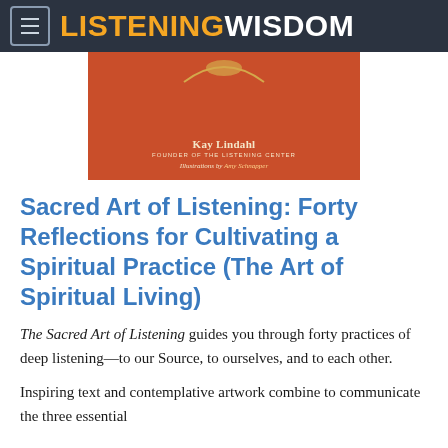LISTENINGWISDOM
[Figure (illustration): Book cover of 'The Sacred Art of Listening' on an orange/red background, showing author Kay Lindahl, Founder of The Listening Center, and illustrated by Amy Schnapper, with a decorative arc motif at the top.]
Sacred Art of Listening: Forty Reflections for Cultivating a Spiritual Practice (The Art of Spiritual Living)
The Sacred Art of Listening guides you through forty practices of deep listening—to our Source, to ourselves, and to each other.
Inspiring text and contemplative artwork combine to communicate the three essential